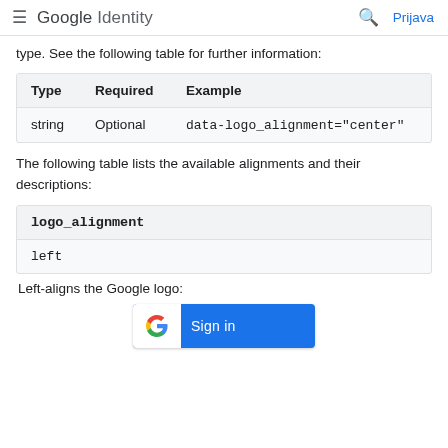Google Identity — Prijava
type. See the following table for further information:
| Type | Required | Example |
| --- | --- | --- |
| string | Optional | data-logo_alignment="center" |
The following table lists the available alignments and their descriptions:
| logo_alignment |
| --- |
| left |
Left-aligns the Google logo:
[Figure (illustration): Google Sign in button with Google G logo on left white box and blue Sign in text on right]